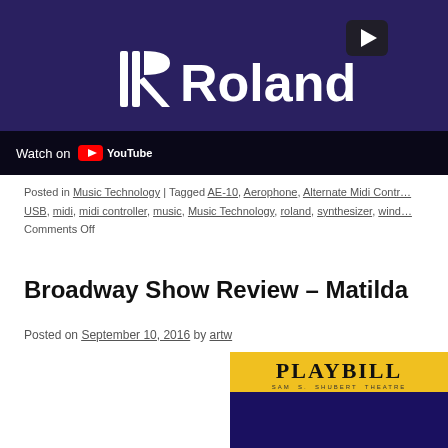[Figure (screenshot): YouTube video thumbnail showing a Roland instrument with dark purple/blue background. A play button is visible in the top right. At the bottom is a dark bar with 'Watch on YouTube' text and the Roland logo with brand symbol.]
Posted in Music Technology | Tagged AE-10, Aerophone, Alternate Midi Contr... USB, midi, midi controller, music, Music Technology, roland, synthesizer, wind... Comments Off
Broadway Show Review – Matilda
Posted on September 10, 2016 by artw
[Figure (photo): Playbill program cover for a show at Sam S. Shubert Theatre, yellow header with PLAYBILL text, dark blue/purple image below.]